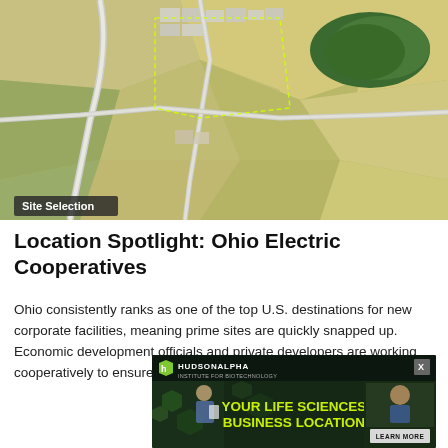[Figure (photo): Aerial satellite view of agricultural fields with road intersections, a highlighted site boundary in yellow-green dotted lines, and some industrial/commercial buildings in the upper portion. Label 'Site Selection' overlaid in bottom-left corner.]
Location Spotlight: Ohio Electric Cooperatives
Ohio consistently ranks as one of the top U.S. destinations for new corporate facilities, meaning prime sites are quickly snapped up. Economic development officials and private developers are working cooperatively to ensure the pipeline of available sites stays full
[Figure (illustration): HudsonAlpha Institute for Biotechnology advertisement overlay with dark green/black background, hexagonal pattern graphics, image of scientist, yellow-green headline text 'YOUR LIFE SCIENCES BUSINESS LOCATION' and 'LEARN MORE' CTA button. Has an X close button in upper right.]